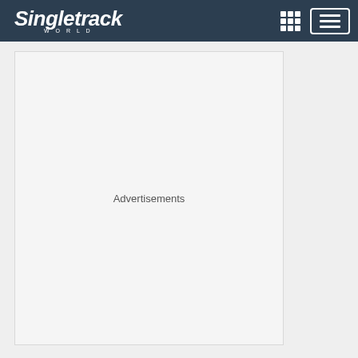Singletrack World
[Figure (other): Advertisement placeholder box with text 'Advertisements' centered inside a light gray bordered rectangle]